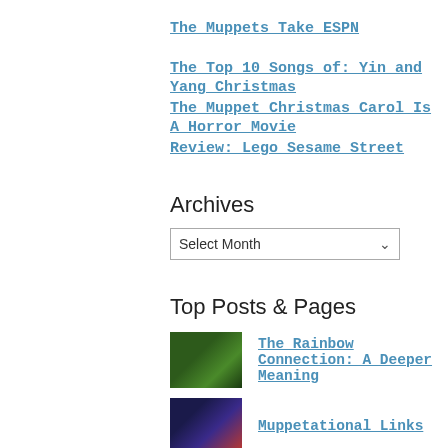The Muppets Take ESPN
The Top 10 Songs of: Yin and Yang Christmas
The Muppet Christmas Carol Is A Horror Movie
Review: Lego Sesame Street
Archives
Select Month
Top Posts & Pages
The Rainbow Connection: A Deeper Meaning
Muppetational Links
The Great Muppet Cameo